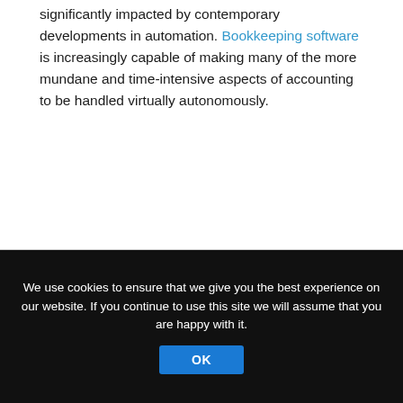significantly impacted by contemporary developments in automation. Bookkeeping software is increasingly capable of making many of the more mundane and time-intensive aspects of accounting to be handled virtually autonomously.
We use cookies to ensure that we give you the best experience on our website. If you continue to use this site we will assume that you are happy with it.